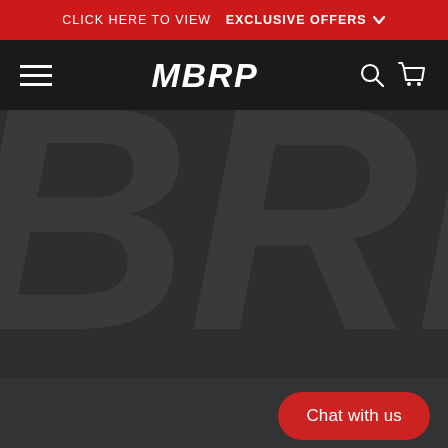CLICK HERE TO VIEW EXCLUSIVE OFFERS
[Figure (screenshot): MBRP website navigation bar with hamburger menu, MBRP logo, search and cart icons on dark background]
[Figure (screenshot): Large dark background with oversized BRP letters watermark on dark grey background, hero section of MBRP website]
Chat with us